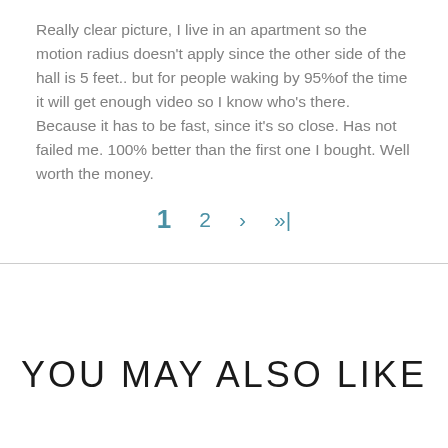Really clear picture, I live in an apartment so the motion radius doesn't apply since the other side of the hall is 5 feet.. but for people waking by 95%of the time it will get enough video so I know who's there. Because it has to be fast, since it's so close. Has not failed me. 100% better than the first one I bought. Well worth the money.
1  2  ›  »|
YOU MAY ALSO LIKE